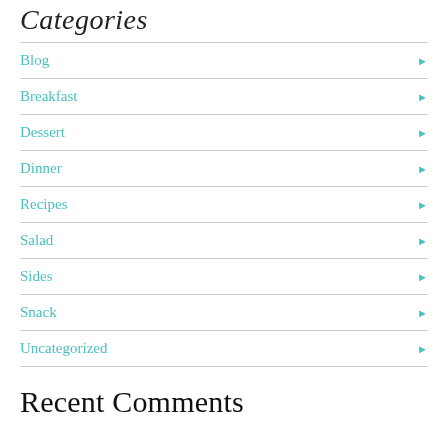Categories
Blog
Breakfast
Dessert
Dinner
Recipes
Salad
Sides
Snack
Uncategorized
Recent Comments